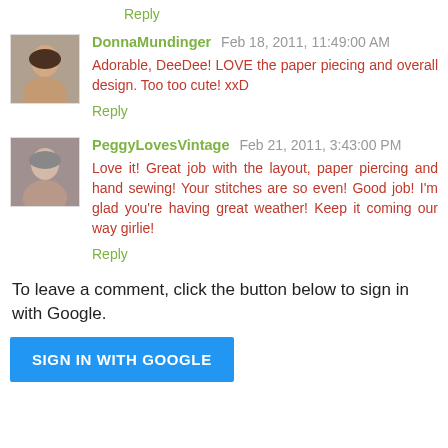Reply
DonnaMundinger Feb 18, 2011, 11:49:00 AM
Adorable, DeeDee! LOVE the paper piecing and overall design. Too too cute! xxD
Reply
PeggyLovesVintage Feb 21, 2011, 3:43:00 PM
Love it! Great job with the layout, paper piercing and hand sewing! Your stitches are so even! Good job! I'm glad you're having great weather! Keep it coming our way girlie!
Reply
To leave a comment, click the button below to sign in with Google.
SIGN IN WITH GOOGLE